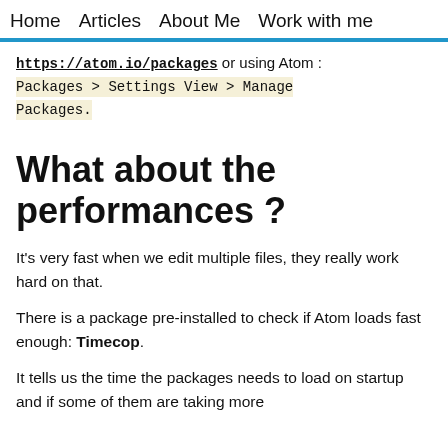Home   Articles   About Me   Work with me
https://atom.io/packages or using Atom : Packages > Settings View > Manage Packages.
What about the performances ?
It's very fast when we edit multiple files, they really work hard on that.
There is a package pre-installed to check if Atom loads fast enough: Timecop.
It tells us the time the packages needs to load on startup and if some of them are taking more